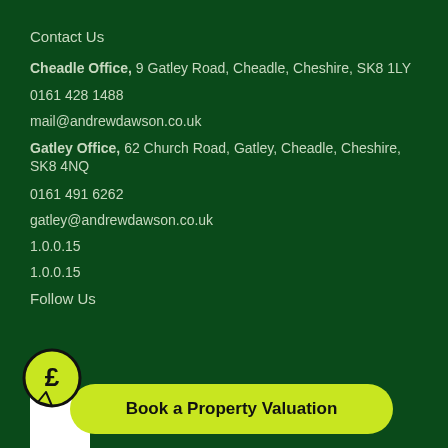Contact Us
Cheadle Office, 9 Gatley Road, Cheadle, Cheshire, SK8 1LY
0161 428 1488
mail@andrewdawson.co.uk
Gatley Office, 62 Church Road, Gatley, Cheadle, Cheshire, SK8 4NQ
0161 491 6262
gatley@andrewdawson.co.uk
1.0.0.15
1.0.0.15
Follow Us
Book a Property Valuation